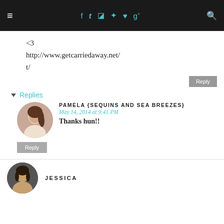Navigation bar with hamburger menu, social icons (f, Twitter, Instagram, Pinterest, heart, g+), and search icon
<3
http://www.getcarriedaway.net/
Replies
PAMELA {SEQUINS AND SEA BREEZES}
May 14, 2014 at 9:41 PM
Thanks hun!!
Reply
JESSICA